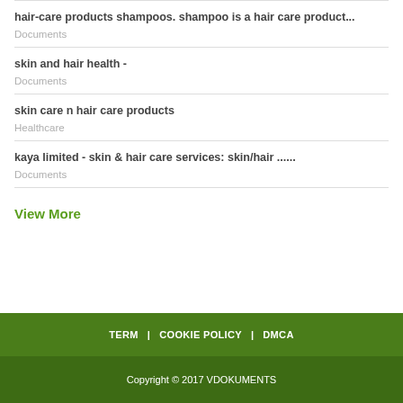hair-care products shampoos. shampoo is a hair care product...
Documents
skin and hair health -
Documents
skin care n hair care products
Healthcare
kaya limited - skin & hair care services: skin/hair ......
Documents
View More
TERM | COOKIE POLICY | DMCA
Copyright © 2017 VDOKUMENTS